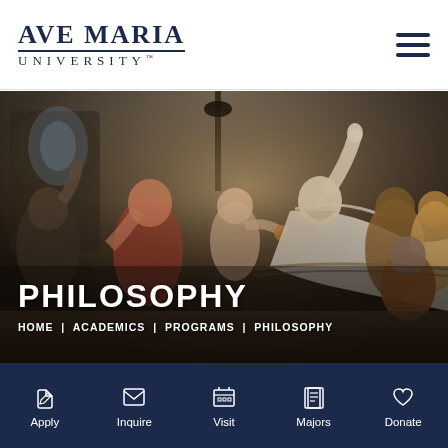AVE MARIA UNIVERSITY
[Figure (illustration): The Death of Socrates painting by Jacques-Louis David, showing Socrates on his deathbed surrounded by disciples, gesturing upward while holding a cup of hemlock]
PHILOSOPHY
HOME | ACADEMICS | PROGRAMS | PHILOSOPHY
Apply  Inquire  Visit  Majors  Donate